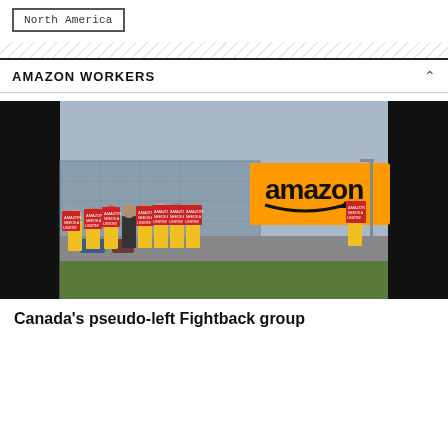North America
AMAZON WORKERS
[Figure (photo): Workers in yellow safety vests holding 'Amazon Needs A Union!' picket signs in front of an Amazon warehouse building.]
Canada's pseudo-left Fightback group